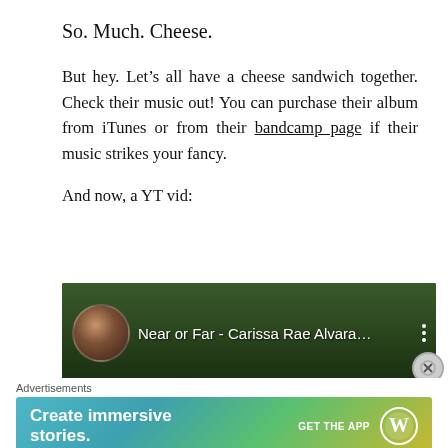So. Much. Cheese.
But hey. Let’s all have a cheese sandwich together. Check their music out! You can purchase their album from iTunes or from their bandcamp page if their music strikes your fancy.
And now, a YT vid:
[Figure (screenshot): YouTube video embed showing 'Near or Far - Carissa Rae Alvara...' with a circular thumbnail on the left showing a person with sunglasses and flowers, set against a green forest background, with three-dot menu icon on the right.]
Advertisements
[Figure (screenshot): WordPress advertisement banner with gradient background (teal to yellow-green). Left side reads 'Create immersive stories.' Right side shows 'GET THE APP' with the WordPress circular logo.]